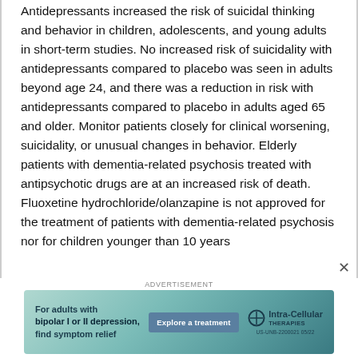Antidepressants increased the risk of suicidal thinking and behavior in children, adolescents, and young adults in short-term studies. No increased risk of suicidality with antidepressants compared to placebo was seen in adults beyond age 24, and there was a reduction in risk with antidepressants compared to placebo in adults aged 65 and older. Monitor patients closely for clinical worsening, suicidality, or unusual changes in behavior. Elderly patients with dementia-related psychosis treated with antipsychotic drugs are at an increased risk of death. Fluoxetine hydrochloride/olanzapine is not approved for the treatment of patients with dementia-related psychosis nor for children younger than 10 years
[Figure (other): Advertisement banner for Intra-Cellular Therapies. Text reads: For adults with bipolar I or II depression, find symptom relief. Button: Explore a treatment. Logo: Intra-Cellular Therapies. Disclaimer: US-UNB-2200021 05/22]